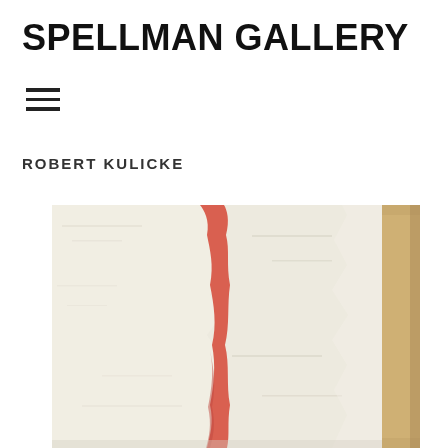SPELLMAN GALLERY
[Figure (other): Hamburger menu icon with three horizontal lines]
ROBERT KULICKE
[Figure (illustration): Abstract painting showing a vertical red/coral stripe on a white textured background with a golden/tan border on the right side — artwork by Robert Kulicke]